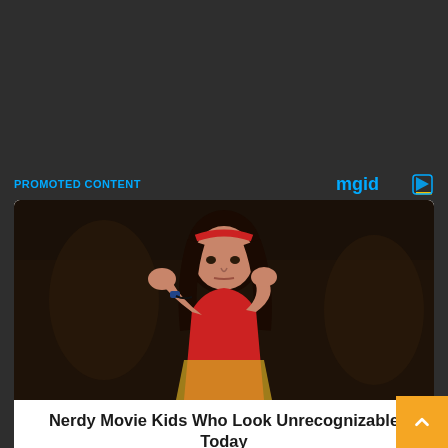PROMOTED CONTENT
[Figure (logo): mgid logo in blue and yellow with play button icon]
[Figure (photo): Young girl in red outfit with headband in a fighting stance, looking serious, dark background]
Nerdy Movie Kids Who Look Unrecognizable Today
Herbeauty